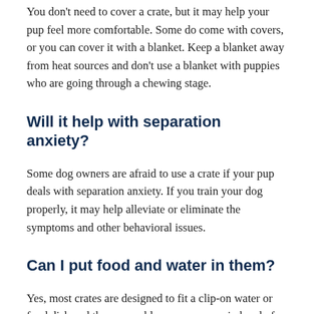You don't need to cover a crate, but it may help your pup feel more comfortable. Some do come with covers, or you can cover it with a blanket. Keep a blanket away from heat sources and don't use a blanket with puppies who are going through a chewing stage.
Will it help with separation anxiety?
Some dog owners are afraid to use a crate if your pup deals with separation anxiety. If you train your dog properly, it may help alleviate or eliminate the symptoms and other behavioral issues.
Can I put food and water in them?
Yes, most crates are designed to fit a clip-on water or food dish and the removable pan can come in handy for water or food spills. Don't forget to add a blanket or a closet to